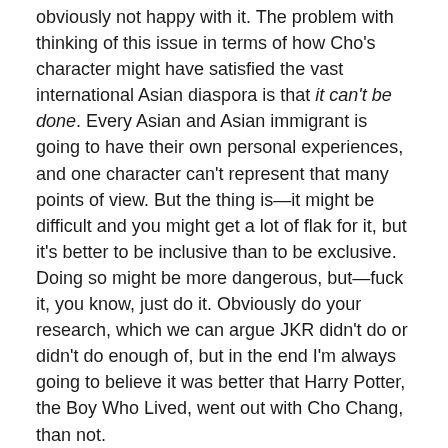obviously not happy with it. The problem with thinking of this issue in terms of how Cho's character might have satisfied the vast international Asian diaspora is that it can't be done. Every Asian and Asian immigrant is going to have their own personal experiences, and one character can't represent that many points of view. But the thing is—it might be difficult and you might get a lot of flak for it, but it's better to be inclusive than to be exclusive. Doing so might be more dangerous, but—fuck it, you know, just do it. Obviously do your research, which we can argue JKR didn't do or didn't do enough of, but in the end I'm always going to believe it was better that Harry Potter, the Boy Who Lived, went out with Cho Chang, than not.
Ink: Okay. So what's next?
Luce: A lot of people probably had this same conversation